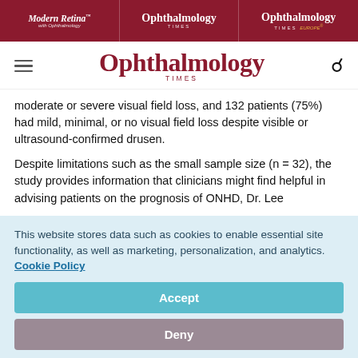Modern Retina | Ophthalmology Times | Ophthalmology Times Europe
[Figure (logo): Ophthalmology Times logo with hamburger menu and search icon]
moderate or severe visual field loss, and 132 patients (75%) had mild, minimal, or no visual field loss despite visible or ultrasound-confirmed drusen.
Despite limitations such as the small sample size (n = 32), the study provides information that clinicians might find helpful in advising patients on the prognosis of ONHD, Dr. Lee
This website stores data such as cookies to enable essential site functionality, as well as marketing, personalization, and analytics. Cookie Policy
Accept
Deny